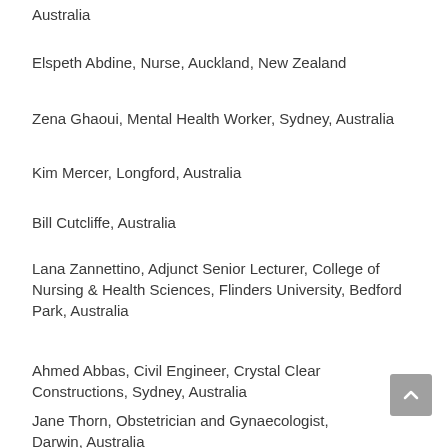Australia
Elspeth Abdine, Nurse, Auckland, New Zealand
Zena Ghaoui, Mental Health Worker, Sydney, Australia
Kim Mercer, Longford, Australia
Bill Cutcliffe, Australia
Lana Zannettino, Adjunct Senior Lecturer, College of Nursing & Health Sciences, Flinders University, Bedford Park, Australia
Ahmed Abbas, Civil Engineer, Crystal Clear Constructions, Sydney, Australia
Jane Thorn, Obstetrician and Gynaecologist, Darwin, Australia